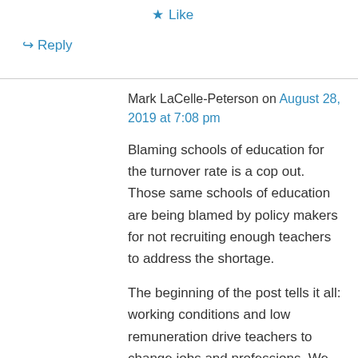★ Like
↪ Reply
Mark LaCelle-Peterson on August 28, 2019 at 7:08 pm
Blaming schools of education for the turnover rate is a cop out. Those same schools of education are being blamed by policy makers for not recruiting enough teachers to address the shortage.
The beginning of the post tells it all: working conditions and low remuneration drive teachers to change jobs and professions. We need to invest in schools and in teachers, not circle the firing squad.